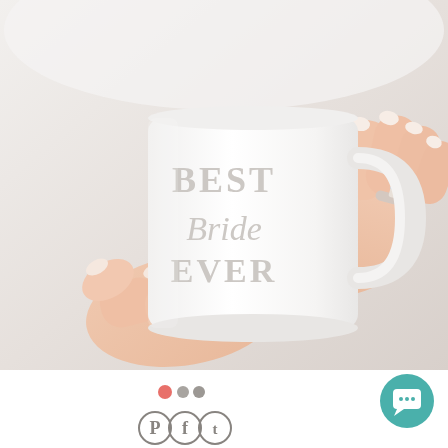[Figure (photo): A woman's hands holding a white ceramic mug that reads 'BEST Bride EVER' in light gray lettering. The woman is wearing a diamond engagement ring on her right hand and has light pink painted nails.]
[Figure (infographic): Navigation dots: one active orange-red dot and two gray dots indicating a carousel slider position, plus three social sharing icons (Pinterest, Facebook, Twitter) and a teal chat button in the bottom right corner.]